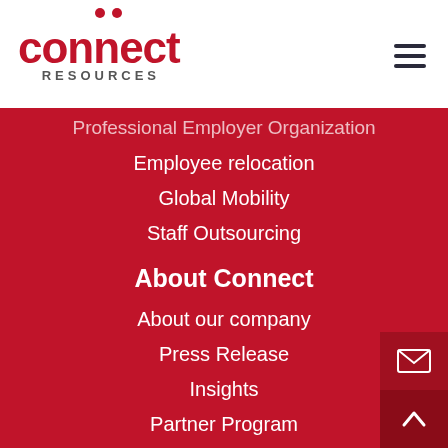[Figure (logo): Connect Resources logo with red text and two dots above letters]
Professional Employer Organization
Employee relocation
Global Mobility
Staff Outsourcing
About Connect
About our company
Press Release
Insights
Partner Program
Emirati Graduate Program
About this website
Terms and conditions
Privacy Policy